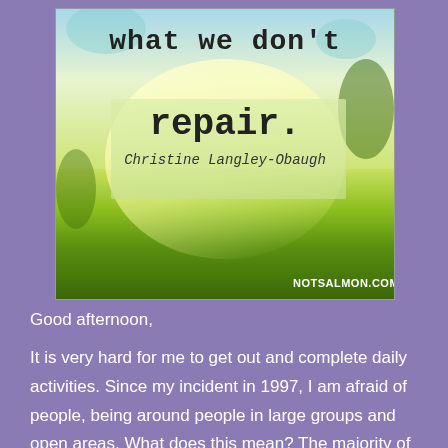[Figure (photo): A motivational quote image over a nature background (green field with bright sky). Text reads 'what we don't repair.' by Christine Langley-Obaugh. Website: NOTSALMON.COM]
Good afternoon,
It is very hard for me to get out and complete daily activities. Since my incident in 1997, I am afraid of people, being around people in large groups and open areas. What does this mean? The majority of